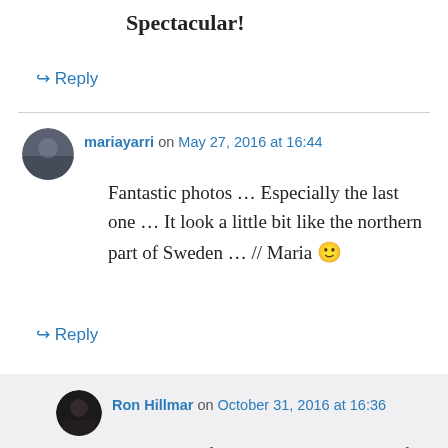Spectacular!
↳ Reply
mariayarri on May 27, 2016 at 16:44
Fantastic photos … Especially the last one … It look a little bit like the northern part of Sweden … // Maria 🙂
↳ Reply
Ron Hillmar on October 31, 2016 at 16:36
Hi Maria, sorry for being so late, but lot of New Zealand reminded me of Scandinavia, maybe even more quiet